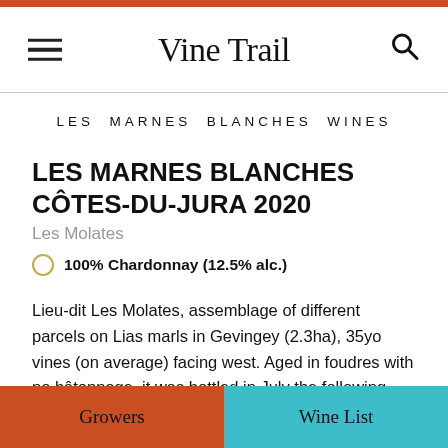Vine Trail
LES MARNES BLANCHES WINES
LES MARNES BLANCHES CÔTES-DU-JURA 2020
Les Molates
100% Chardonnay (12.5% alc.)
Lieu-dit Les Molates, assemblage of different parcels on Lias marls in Gevingey (2.3ha), 35yo vines (on average) facing west. Aged in foudres with no bâtonnage, it was bottled in July the following year. This is a very well-balanced wine, with zesty lemony fruit and is the first of
Growers   Wine List